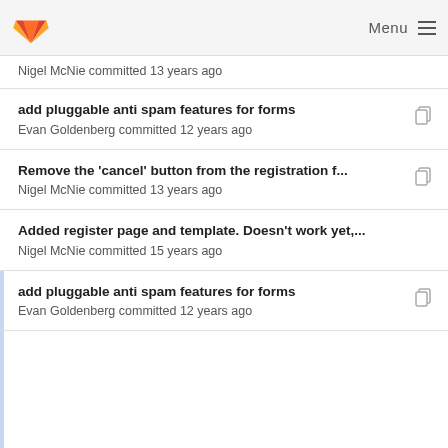Menu
Nigel McNie committed 13 years ago
add pluggable anti spam features for forms
Evan Goldenberg committed 12 years ago
Remove the 'cancel' button from the registration f...
Nigel McNie committed 13 years ago
Added register page and template. Doesn't work yet,...
Nigel McNie committed 15 years ago
add pluggable anti spam features for forms
Evan Goldenberg committed 12 years ago
Added register page and template. Doesn't work yet,...
Nigel McNie committed 15 years ago